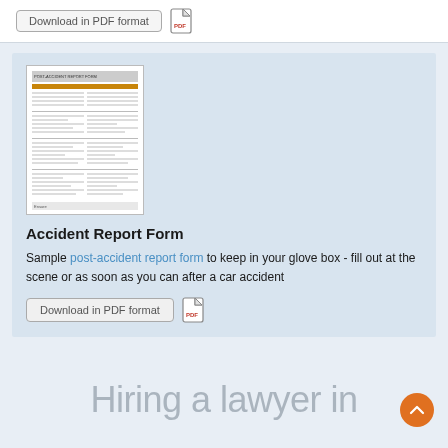Download in PDF format
[Figure (screenshot): Preview thumbnail of a post-accident report form document]
Accident Report Form
Sample post-accident report form to keep in your glove box - fill out at the scene or as soon as you can after a car accident
Download in PDF format
Hiring a lawyer in